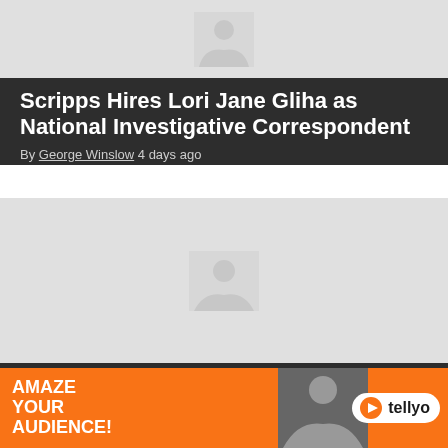[Figure (photo): Placeholder image thumbnail at top of first article card]
Scripps Hires Lori Jane Gliha as National Investigative Correspondent
By George Winslow 4 days ago
[Figure (photo): Placeholder image thumbnail for second article card]
Nexstar Donates $50K to Feeding America for “Hunger Action Month”
[Figure (other): Advertisement banner: AMAZE YOUR AUDIENCE! with tellyo branding and person photo]